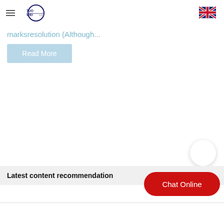TUO-WEI logo and navigation header
marksresolution (Although...
Read More
Latest content recommendation
Chat Online